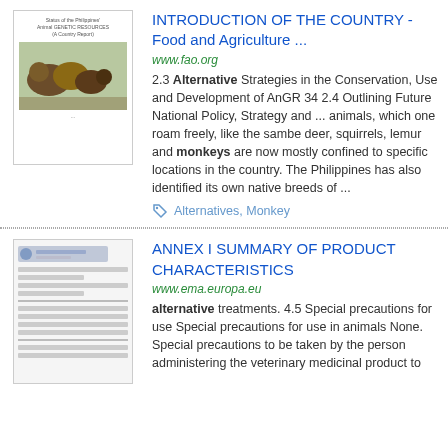[Figure (screenshot): Thumbnail of a Philippines country report document cover with animal images]
INTRODUCTION OF THE COUNTRY - Food and Agriculture ...
www.fao.org
2.3 Alternative Strategies in the Conservation, Use and Development of AnGR 34 2.4 Outlining Future National Policy, Strategy and ... animals, which one roam freely, like the sambe deer, squirrels, lemur and monkeys are now mostly confined to specific locations in the country. The Philippines has also identified its own native breeds of ...
Alternatives, Monkey
[Figure (screenshot): Thumbnail of a product characteristics document page with logo and text columns]
ANNEX I SUMMARY OF PRODUCT CHARACTERISTICS
www.ema.europa.eu
alternative treatments. 4.5 Special precautions for use Special precautions for use in animals None. Special precautions to be taken by the person administering the veterinary medicinal product to